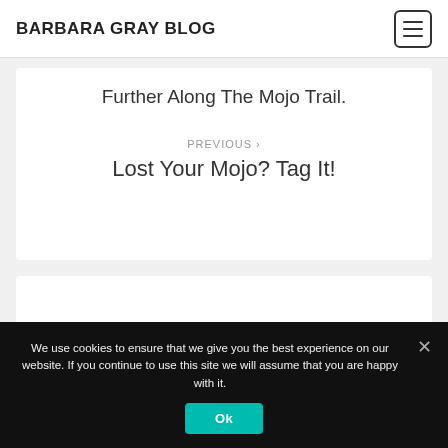BARBARA GRAY BLOG
Further Along The Mojo Trail.
PREVIOUS > Lost Your Mojo? Tag It!
We use cookies to ensure that we give you the best experience on our website. If you continue to use this site we will assume that you are happy with it.